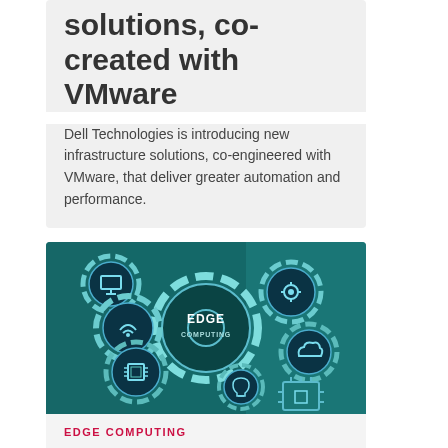solutions, co-created with VMware
Dell Technologies is introducing new infrastructure solutions, co-engineered with VMware, that deliver greater automation and performance.
[Figure (photo): Edge computing concept image with glowing teal gear icons including IoT, cloud, WiFi, and microchip symbols, with the text EDGE COMPUTING on the central gear]
EDGE COMPUTING
NTT launches Edge-as-a-Service to